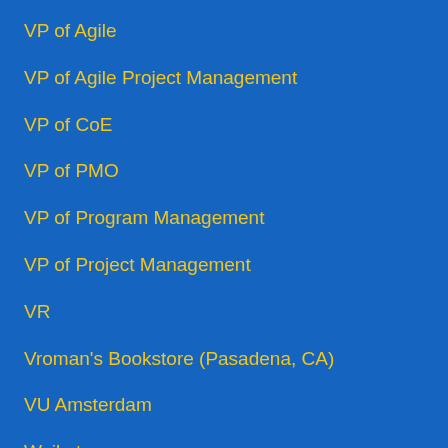VP of Agile
VP of Agile Project Management
VP of CoE
VP of PMO
VP of Program Management
VP of Project Management
VR
Vroman's Bookstore (Pasadena, CA)
VU Amsterdam
Waikato